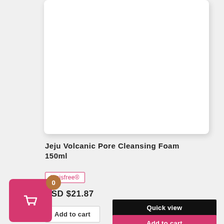[Figure (photo): White product card/image area for Jeju Volcanic Pore Cleansing Foam 150ml]
Jeju Volcanic Pore Cleansing Foam 150ml
Innisfree®
USD $21.87
Add to cart
Quick view
Add to cart